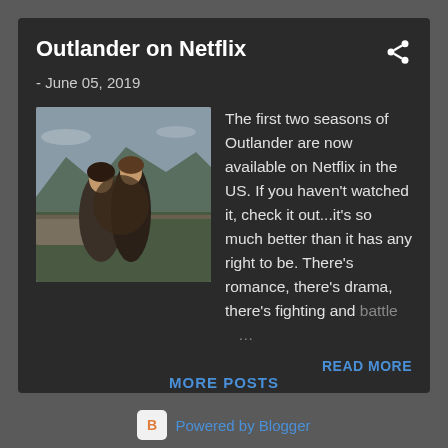Outlander on Netflix
- June 05, 2019
[Figure (photo): Two women in period Scottish Highland costumes standing near stone wall with mountains in background]
The first two seasons of Outlander are now available on Netflix in the US. If you haven't watched it, check it out...it's so much better than it has any right to be. There's romance, there's drama, there's fighting and battle …
READ MORE
MORE POSTS
Powered by Blogger